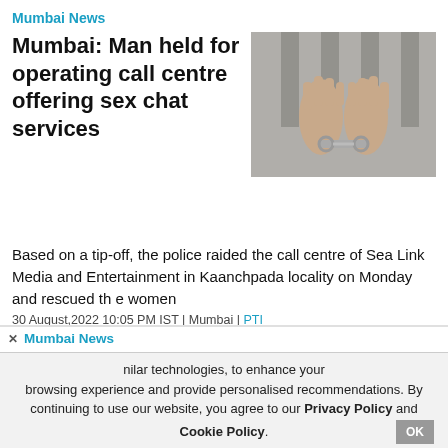Mumbai News
Mumbai: Man held for operating call centre offering sex chat services
[Figure (photo): Hands in handcuffs behind back, monochrome image]
Based on a tip-off, the police raided the call centre of Sea Link Media and Entertainment in Kaanchpada locality on Monday and rescued the women
30 August,2022 10:05 PM IST | Mumbai | PTI
Mumbai News
[Figure (photo): Accident warning sign on road with traffic cones]
[Figure (photo): Woman speaking on phone at night]
nilar technologies, to enhance your browsing experience and provide personalised recommendations. By continuing to use our website, you agree to our Privacy Policy and Cookie Policy.